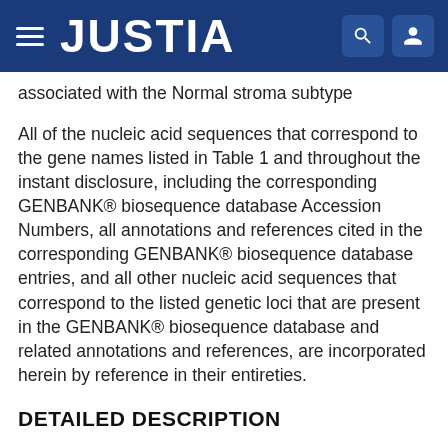JUSTIA
associated with the Normal stroma subtype
All of the nucleic acid sequences that correspond to the gene names listed in Table 1 and throughout the instant disclosure, including the corresponding GENBANK® biosequence database Accession Numbers, all annotations and references cited in the corresponding GENBANK® biosequence database entries, and all other nucleic acid sequences that correspond to the listed genetic loci that are present in the GENBANK® biosequence database and related annotations and references, are incorporated herein by reference in their entireties.
DETAILED DESCRIPTION
The present subject matter will be now be described